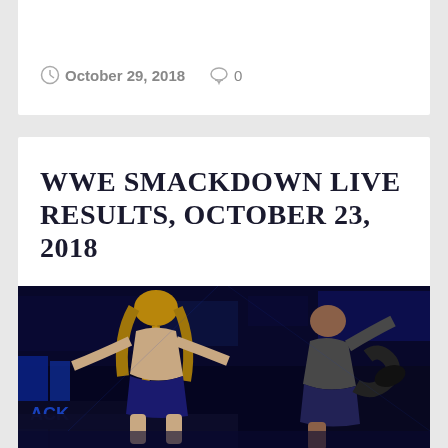October 29, 2018  0
WWE SMACKDOWN LIVE RESULTS, OCTOBER 23, 2018
[Figure (photo): WWE wrestling action photo showing two wrestlers in an arena with blue lighting and SmackDown branding visible]
Privacy & Cookies: This site uses cookies. By continuing to use this website, you agree to their use.
To find out more, including how to control cookies, see here: Cookie Policy
Close and accept
[Figure (photo): Partial bottom strip of another wrestling photo]